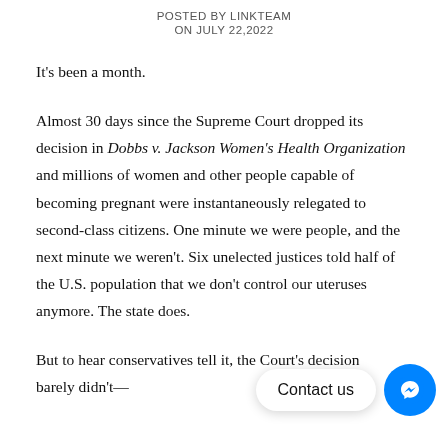POSTED BY LINKTEAM
ON JULY 22, 2022
It's been a month.
Almost 30 days since the Supreme Court dropped its decision in Dobbs v. Jackson Women's Health Organization and millions of women and other people capable of becoming pregnant were instantaneously relegated to second-class citizens. One minute we were people, and the next minute we weren't. Six unelected justices told half of the U.S. population that we don't control our uteruses anymore. The state does.
But to hear conservatives tell it, the Court's decision barely...